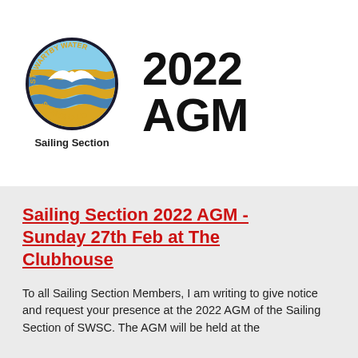[Figure (logo): Stewartby Water Sports Club circular logo with blue and yellow wave pattern and white bird/sailfish, with 'Sailing Section' text below]
2022 AGM
Sailing Section 2022 AGM - Sunday 27th Feb at The Clubhouse
To all Sailing Section Members, I am writing to give notice and request your presence at the 2022 AGM of the Sailing Section of SWSC. The AGM will be held at the Clubhouse